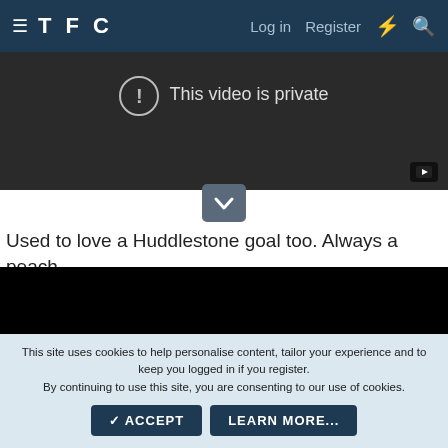TFC — Log in   Register
[Figure (screenshot): Video player showing 'This video is private' message with exclamation icon on dark background, YouTube icon in bottom right]
[Figure (other): Chevron/scroll-down button (grey rounded rectangle with downward arrow)]
Used to love a Huddlestone goal too. Always a peach.
[Figure (screenshot): Black video player embed]
This site uses cookies to help personalise content, tailor your experience and to keep you logged in if you register.
By continuing to use this site, you are consenting to our use of cookies.
✓ ACCEPT   LEARN MORE...